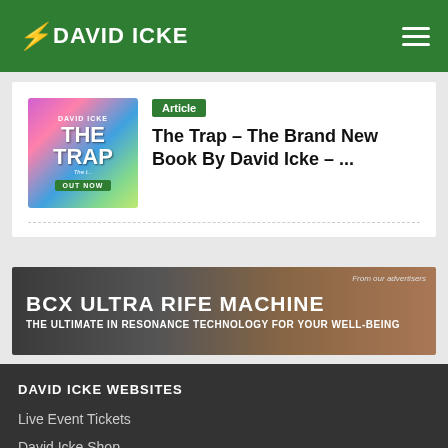DAVID ICKE
[Figure (illustration): Book cover for 'The Trap' by David Icke with colorful abstract design and 'OUT NOW' label]
Article
The Trap – The Brand New Book By David Icke – ...
[Figure (photo): BCX ULTRA RIFE MACHINE advertisement banner – THE ULTIMATE IN RESONANCE TECHNOLOGY FOR YOUR WELL-BEING]
DAVID ICKE WEBSITES
Live Event Tickets
David Icke Shop